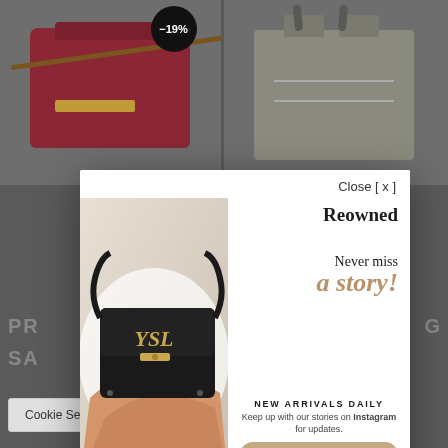[Figure (screenshot): E-commerce page background showing two handbag product images. Left bag is a dark red/burgundy crossbody with a -19% discount badge. Right bag is a grey tote bag. Both shown on a dimmed grey background.]
PR
SA
We use relevant repeating of ALL Setting
[Figure (photo): Modal popup overlay showing a person's hand holding a black YSL (Yves Saint Laurent) handbag with gold hardware against a white background.]
Close [ x ]
Reowned
Never miss
a story!
NEW ARRIVALS DAILY
Keep up with our stories on Instagram for updates.
reowned_
Cookie Settings
Accept All